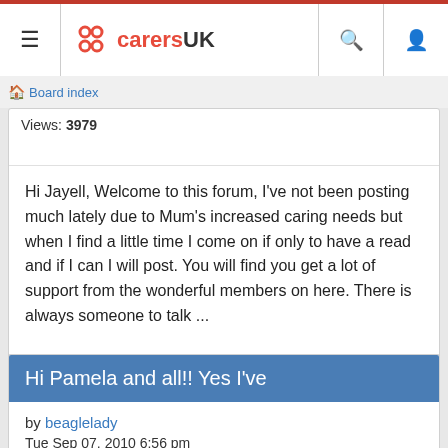CarersUK header with menu, logo, search, and user icons
Board index
Views: 3979
Hi Jayell, Welcome to this forum, I've not been posting much lately due to Mum's increased caring needs but when I find a little time I come on if only to have a read and if I can I will post. You will find you get a lot of support from the wonderful members on here. There is always someone to talk ...
Hi Pamela and all!! Yes I've
by beaglelady
Tue Sep 07, 2010 6:56 pm